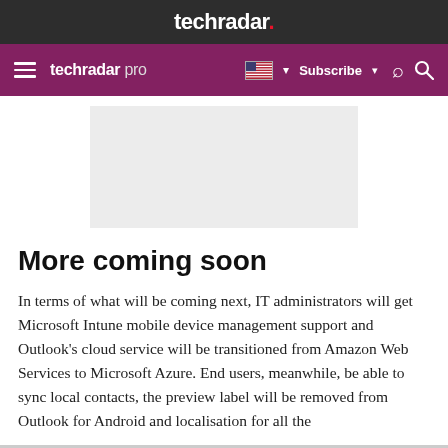techradar.
[Figure (screenshot): TechRadar Pro navigation bar with hamburger menu, techradar pro logo, US flag language selector, Subscribe button, and search icon on purple background]
[Figure (other): Light gray advertisement placeholder block]
More coming soon
In terms of what will be coming next, IT administrators will get Microsoft Intune mobile device management support and Outlook's cloud service will be transitioned from Amazon Web Services to Microsoft Azure. End users, meanwhile, be able to sync local contacts, the preview label will be removed from Outlook for Android and localisation for all the